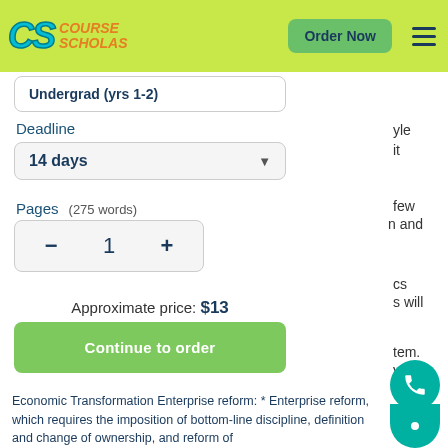CS Course Scholars — Order Now
Undergrad (yrs 1-2)
Deadline
14 days
Pages   (275 words)
1
Approximate price: $13
Continue to order
Economic Transformation Enterprise reform: * Enterprise reform, which requires the imposition of bottom-line discipline, definition and change of ownership, and reform of